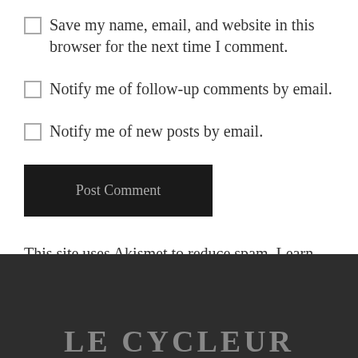Save my name, email, and website in this browser for the next time I comment.
Notify me of follow-up comments by email.
Notify me of new posts by email.
Post Comment
This site uses Akismet to reduce spam. Learn how your comment data is processed.
LE CYCLEUR